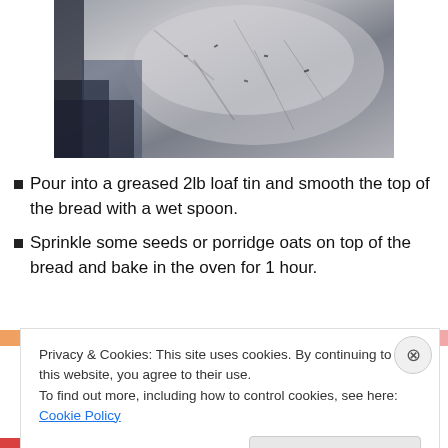[Figure (photo): Close-up photo of bread dough in a loaf tin, showing rough grainy surface with dark spots]
Pour into a greased 2lb loaf tin and smooth the top of the bread with a wet spoon.
Sprinkle some seeds or porridge oats on top of the bread and bake in the oven for 1 hour.
Privacy & Cookies: This site uses cookies. By continuing to use this website, you agree to their use.
To find out more, including how to control cookies, see here: Cookie Policy
Close and accept